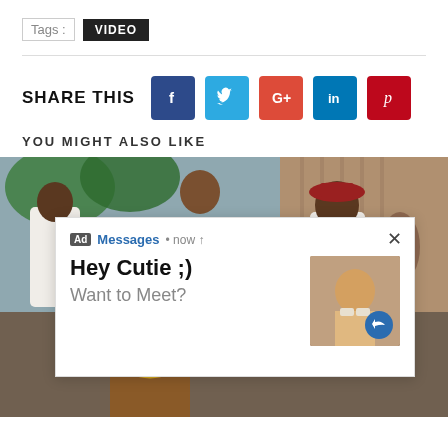Tags : VIDEO
SHARE THIS
YOU MIGHT ALSO LIKE
[Figure (photo): Photo of people in colorful clothing outdoors in an African village setting]
VID
[Figure (screenshot): Ad overlay popup: Ad Messages • now. Hey Cutie ;) Want to Meet? with thumbnail image and close button]
[Figure (photo): Photo of two people, one in brown jacket with gold chain, another with afro hairstyle]